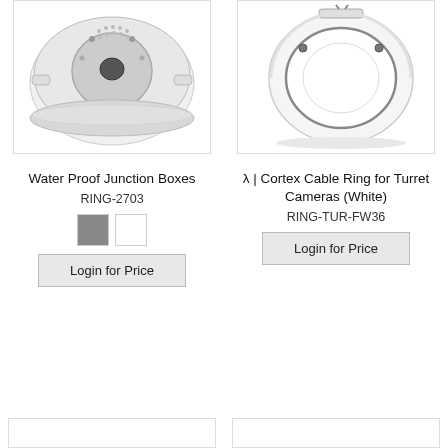[Figure (photo): Waterproof junction box, circular, white/gray, top-down view]
[Figure (photo): Cortex cable ring for turret cameras, white, circular mounting ring]
Water Proof Junction Boxes
RING-2703
Login for Price
λ | Cortex Cable Ring for Turret Cameras (White)
RING-TUR-FW36
Login for Price